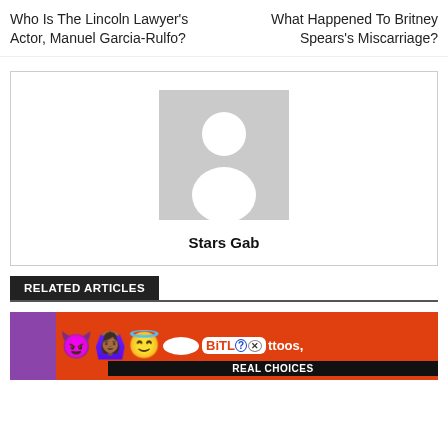Who Is The Lincoln Lawyer's Actor, Manuel Garcia-Rulfo?
What Happened To Britney Spears's Miscarriage?
[Figure (illustration): Default user avatar placeholder: grey square background with white silhouette of a person (circle for head, rounded body shape)]
Stars Gab
RELATED ARTICLES
[Figure (infographic): Advertisement banner for BitLife game on red background with emoji characters (devil, woman with arms raised, angel face), BitLife logo, help and close icons, and text 'REAL CHOICES'. Partial text 'ttoos,' visible on right.]